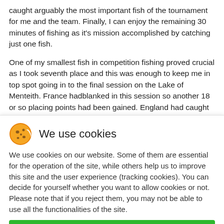caught arguably the most important fish of the tournament for me and the team. Finally, I can enjoy the remaining 30 minutes of fishing as it's mission accomplished by catching just one fish.

One of my smallest fish in competition fishing proved crucial as I took seventh place and this was enough to keep me in top spot going in to the final session on the Lake of Menteith. France hadblanked in this session so another 18 or so placing points had been gained. England had caught in all sections in session four, which was an outstanding achievement, including Davie Parker winning the Lake of Menteith session
[Figure (other): Cookie consent dialog with cookie icon emoji, heading 'We use cookies', explanatory text, and two buttons: Ok (green) and Decline (light gray)]